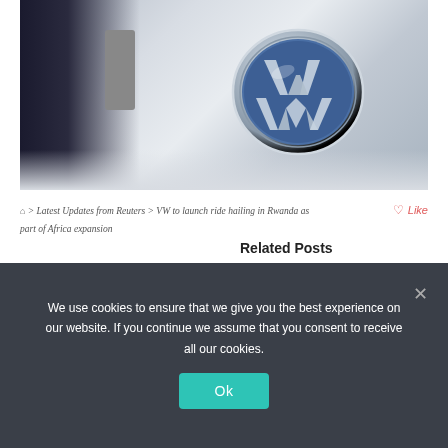[Figure (photo): Close-up photo of a Volkswagen (VW) chrome logo badge on a white car hood, with a person in dark clothing and a microphone stand visible on the left side]
🏠 > Latest Updates from Reuters > VW to launch ride hailing in Rwanda as part of Africa expansion
♡ Like
Related Posts
We use cookies to ensure that we give you the best experience on our website. If you continue we assume that you consent to receive all our cookies.